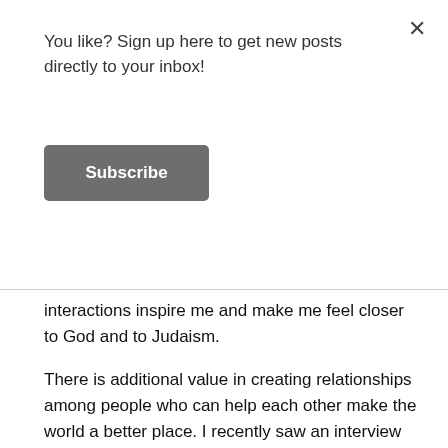You like? Sign up here to get new posts directly to your inbox!
Subscribe
interactions inspire me and make me feel closer to God and to Judaism.
There is additional value in creating relationships among people who can help each other make the world a better place. I recently saw an interview with Rabbi Sacks where he says that he believes in “interfaith activism” as opposed to “interfaith dialogue”–that is, not sitting around discussing belief systems, but getting off our respective butts and working together toward our common goals–like feeding the hungry, treating the sick, etc. etc. etc. As religious Jews, we believe in ultimate redemption, and we also believe that we must do our part to bring it about. I believe that